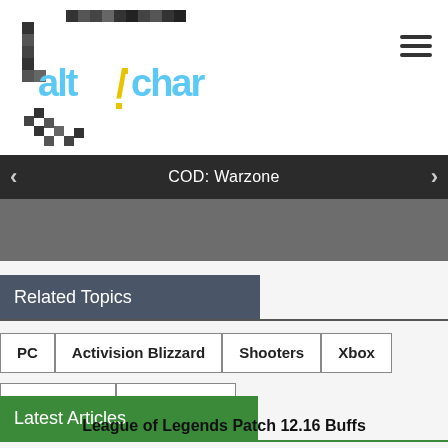[Figure (logo): AltChar logo - pixel art style gaming logo with blue and yellow text]
COD: Warzone
Related Topics
PC
Activision Blizzard
Shooters
Xbox
PlayStation
Call Of Duty
Latest Articles
League of Legends Patch 12.16 Buffs